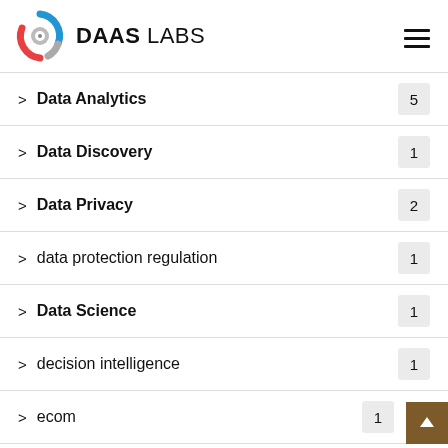DAAS LABS
Data Analytics 5
Data Discovery 1
Data Privacy 2
data protection regulation 1
Data Science 1
decision intelligence 1
ecom 1